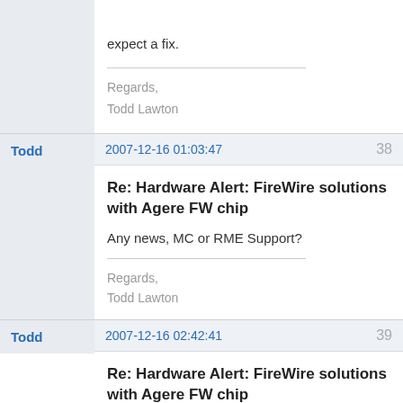expect a fix.
Regards,
Todd Lawton
Todd
2007-12-16 01:03:47
38
Re: Hardware Alert: FireWire solutions with Agere FW chip
Any news, MC or RME Support?
Regards,
Todd Lawton
Todd
2007-12-16 02:42:41
39
Re: Hardware Alert: FireWire solutions with Agere FW chip